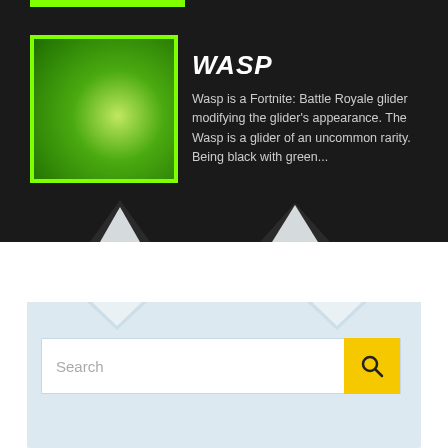[Figure (screenshot): Green square item image with bright green border, representing the Wasp glider item thumbnail]
WASP
Wasp is a Fortnite: Battle Royale glider modifying the glider's appearance. The Wasp is a glider of an uncommon rarity. Being black with green...
[Figure (screenshot): Search bar section with light blue background, white input field with placeholder text 'Search', and a yellow search button with magnifying glass icon]